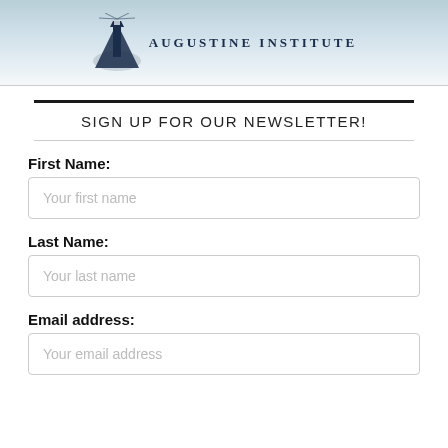[Figure (logo): Augustine Institute logo with lighthouse/mountain icon and text 'AUGUSTINE INSTITUTE']
SIGN UP FOR OUR NEWSLETTER!
First Name:
Your first name
Last Name:
Your last name
Email address:
Your email address